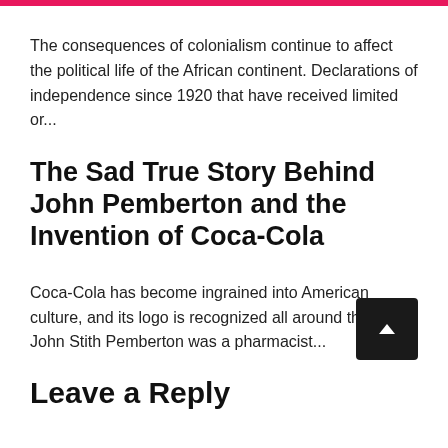The consequences of colonialism continue to affect the political life of the African continent. Declarations of independence since 1920 that have received limited or...
The Sad True Story Behind John Pemberton and the Invention of Coca-Cola
Coca-Cola has become ingrained into American culture, and its logo is recognized all around the world. John Stith Pemberton was a pharmacist...
Leave a Reply